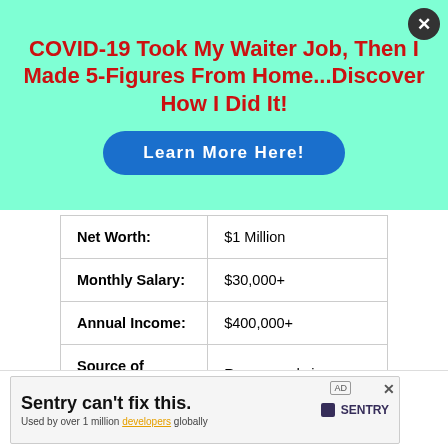[Figure (infographic): Mint/aqua background advertisement banner. Bold red title text: 'COVID-19 Took My Waiter Job, Then I Made 5-Figures From Home...Discover How I Did It!' with a blue rounded button labeled 'Learn More Here!']
| Net Worth: | $1 Million |
| Monthly Salary: | $30,000+ |
| Annual Income: | $400,000+ |
| Source of Wealth: | Rapper and singer |
[Figure (infographic): Bottom advertisement banner: 'Sentry can't fix this.' with Sentry logo and text 'Used by over 1 million developers globally']